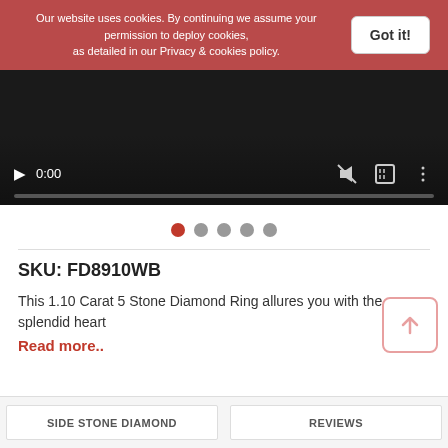Our website uses cookies. By continuing we assume your permission to deploy cookies, as detailed in our Privacy & cookies policy.
Got it!
[Figure (screenshot): Video player showing 0:00 timestamp with play button, mute, fullscreen, and options icons, plus a progress bar at bottom]
SKU: FD8910WB
This 1.10 Carat 5 Stone Diamond Ring allures you with the splendid heart
Read more..
SIDE STONE DIAMOND
REVIEWS